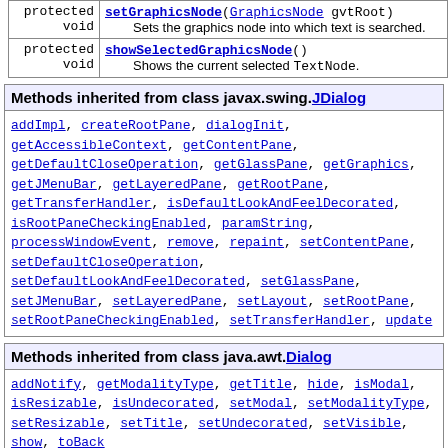| modifier | method/description |
| --- | --- |
| protected void | setGraphicsNode(GraphicsNode gvtRoot)
Sets the graphics node into which text is searched. |
| protected void | showSelectedGraphicsNode()
Shows the current selected TextNode. |
| Methods inherited from class javax.swing.JDialog |
| --- |
| addImpl, createRootPane, dialogInit, getAccessibleContext, getContentPane, getDefaultCloseOperation, getGlassPane, getGraphics, getJMenuBar, getLayeredPane, getRootPane, getTransferHandler, isDefaultLookAndFeelDecorated, isRootPaneCheckingEnabled, paramString, processWindowEvent, remove, repaint, setContentPane, setDefaultCloseOperation, setDefaultLookAndFeelDecorated, setGlassPane, setJMenuBar, setLayeredPane, setLayout, setRootPane, setRootPaneCheckingEnabled, setTransferHandler, update |
| Methods inherited from class java.awt.Dialog |
| --- |
| addNotify, getModalityType, getTitle, hide, isModal, isResizable, isUndecorated, setModal, setModalityType, setResizable, setTitle, setUndecorated, setVisible, show, toBack |